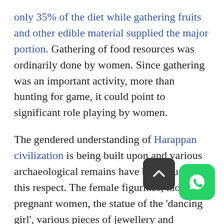only 35% of the diet while gathering fruits and other edible material supplied the major portion. Gathering of food resources was ordinarily done by women. Since gathering was an important activity, more than hunting for game, it could point to significant role playing by women.
The gendered understanding of Harappan civilization is being built upon and various archaeological remains have been studied in this respect. The female figurines, idols of pregnant women, the statue of the 'dancing girl', various pieces of jewellery and personal belongings that have been discovered at various sites and offer useful insights on the public and private lives of women and men.